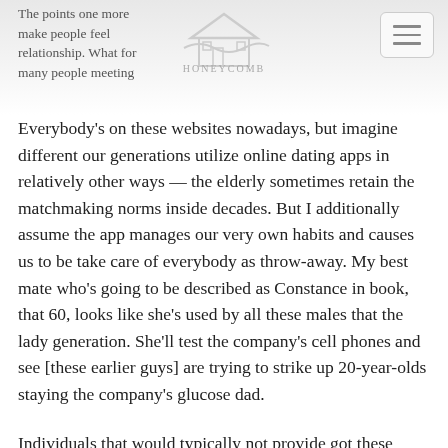The points one more... make people feel... relationship. What for... many people meeting... HONEYCOMB
Everybody’s on these websites nowadays, but imagine different our generations utilize online dating apps in relatively other ways — the elderly sometimes retain the matchmaking norms inside decades. But I additionally assume the app manages our very own habits and causes us to be take care of everybody as throw-away. My best mate who’s going to be described as Constance in book, that 60, looks like she’s used by all these males that the lady generation. She’ll test the company’s cell phones and see [these earlier guys] are trying to strike up 20-year-olds staying the company’s glucose dad.
Individuals that would typically not provide got these opinion within their mind are doing this simply because